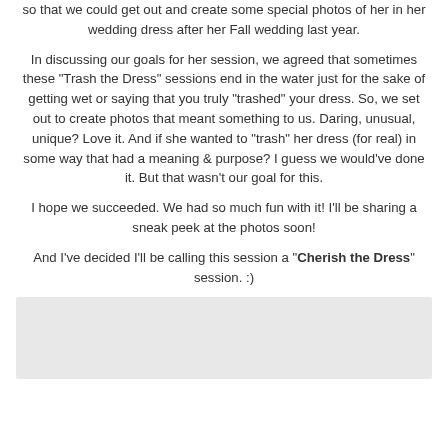so that we could get out and create some special photos of her in her wedding dress after her Fall wedding last year.
In discussing our goals for her session, we agreed that sometimes these "Trash the Dress" sessions end in the water just for the sake of getting wet or saying that you truly "trashed" your dress. So, we set out to create photos that meant something to us. Daring, unusual, unique? Love it. And if she wanted to "trash" her dress (for real) in some way that had a meaning & purpose? I guess we would've done it. But that wasn't our goal for this.
I hope we succeeded. We had so much fun with it! I'll be sharing a sneak peek at the photos soon!
And I've decided I'll be calling this session a "Cherish the Dress" session. :)
[Figure (other): Light gray rectangular box placeholder image]